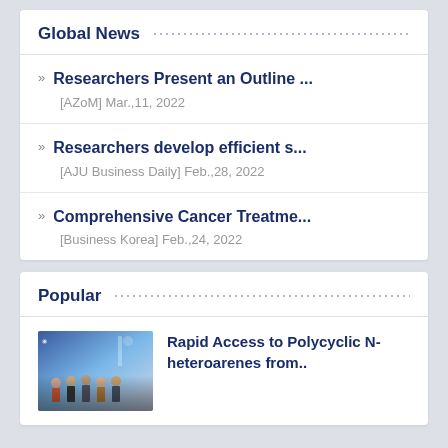Global News
Researchers Present an Outline ... [AZoM] Mar.,11, 2022
Researchers develop efficient s... [AJU Business Daily] Feb.,28, 2022
Comprehensive Cancer Treatme... [Business Korea] Feb.,24, 2022
Popular
Rapid Access to Polycyclic N-heteroarenes from..